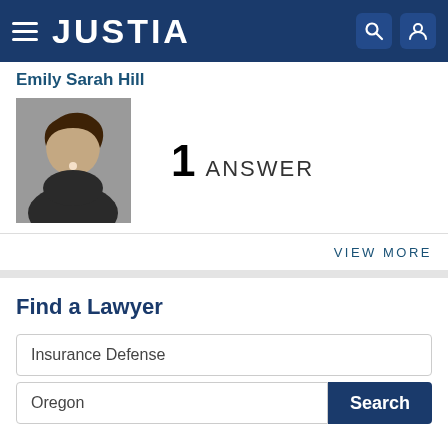[Figure (screenshot): Justia website navigation bar with hamburger menu, JUSTIA logo, search icon, and user icon on dark blue background]
Emily Sarah Hill
[Figure (photo): Profile photo of Emily Sarah Hill, a woman with dark hair]
1 ANSWER
VIEW MORE
Find a Lawyer
Insurance Defense
Oregon
Search
Lawyers - Get Listed Now!
Get a free directory profile listing